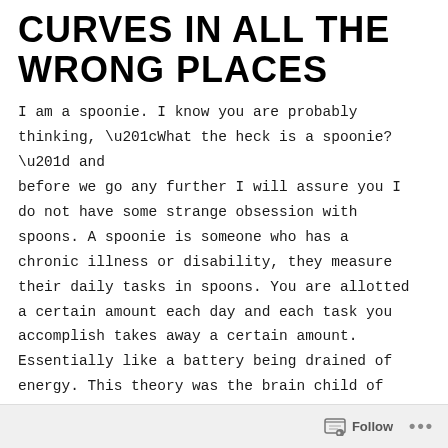CURVES IN ALL THE WRONG PLACES
I am a spoonie. I know you are probably thinking, “What the heck is a spoonie?” and before we go any further I will assure you I do not have some strange obsession with spoons. A spoonie is someone who has a chronic illness or disability, they measure their daily tasks in spoons. You are allotted a certain amount each day and each task you accomplish takes away a certain amount. Essentially like a battery being drained of energy. This theory was the brain child of
Follow •••